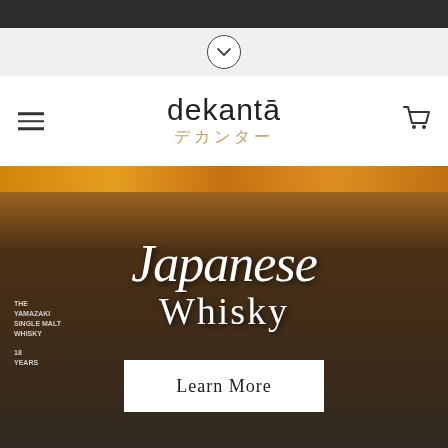[Figure (screenshot): Dark top navigation bar]
[Figure (other): Chevron/down-arrow button in a circle on light gray background]
dekantā デカンター
[Figure (photo): Hero image of Japanese whisky bottles (Yamazaki 18, Hibiki) in a dark bar setting with amber lighting and the text 'Japanese Whisky' overlaid, plus a 'Learn More' button]